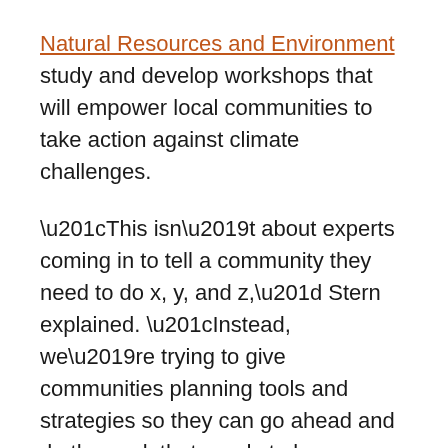Natural Resources and Environment study and develop workshops that will empower local communities to take action against climate challenges.
“This isn’t about experts coming in to tell a community they need to do x, y, and z,” Stern explained. “Instead, we’re trying to give communities planning tools and strategies so they can go ahead and do the work that needs to be done.”
The first component of Stern’s project is to survey experts who facilitate workshops that